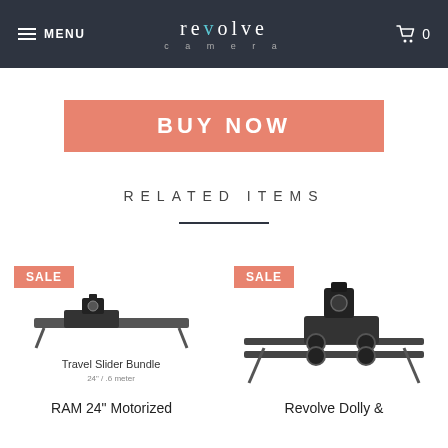revolve camera — MENU — cart 0
BUY NOW
RELATED ITEMS
[Figure (photo): Product photo of RAM 24" Motorized Travel Slider Bundle with SALE badge]
RAM 24" Motorized
[Figure (photo): Product photo of Revolve Dolly & Slider with SALE badge]
Revolve Dolly &